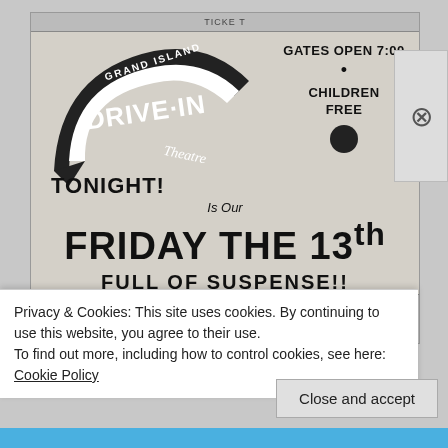[Figure (other): Scanned newspaper advertisement for Grand Island Drive-In Theatre. Shows the drive-in logo banner at top left, 'GATES OPEN 7:00' and 'CHILDREN FREE' on the right. Main text reads 'TONIGHT! Is Our FRIDAY THE 13th FULL OF SUSPENSE!! FRIDAY THE 13th HIT NO. 1'. Bottom strip shows 'UP FROM' box and 'THE SLUMS' text.]
Privacy & Cookies: This site uses cookies. By continuing to use this website, you agree to their use.
To find out more, including how to control cookies, see here: Cookie Policy
Close and accept